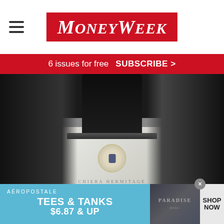MoneyWeek
6 issues for free  SUBSCRIBE >
[Figure (photo): Close-up photograph of a wine bottle with a white label partially visible, showing blurred text that reads something like 'CHIERA HERMITAGE'. The bottle neck is dark and the label features a decorative emblem.]
[Figure (screenshot): Aeropostale advertisement banner: light blue background on left with white text 'AÉROPOSTALE', 'TEES & TANKS', '$6.87 & UP'. Center shows a dark photo of clothing with 'PARADISE' text. Right side shows 'SHOP NOW' on light grey background with a close/X button.]